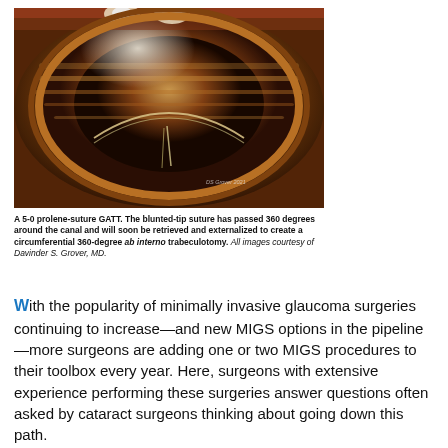[Figure (photo): Surgical endoscopic view of a 5-0 prolene-suture GATT procedure showing the blunted-tip suture passed 360 degrees around the canal. Warm orange/amber tones, circular canal visible. Watermark: DS Grover 2021.]
A 5-0 prolene-suture GATT. The blunted-tip suture has passed 360 degrees around the canal and will soon be retrieved and externalized to create a circumferential 360-degree ab interno trabeculotomy. All images courtesy of Davinder S. Grover, MD.
With the popularity of minimally invasive glaucoma surgeries continuing to increase—and new MIGS options in the pipeline—more surgeons are adding one or two MIGS procedures to their toolbox every year. Here, surgeons with extensive experience performing these surgeries answer questions often asked by cataract surgeons thinking about going down this path.